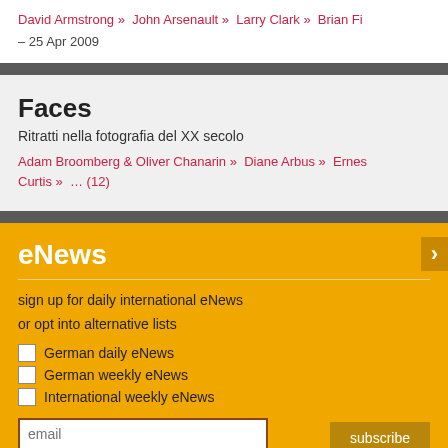David Armstrong » John Arsenault » Larry Clark » Brian Fi…
– 25 Apr 2009
Faces
Ritratti nella fotografia del XX secolo
Adam Broomberg & Oliver Chanarin » Diane Arbus » Ernes… Curtis » … (12)
eNews
sign up for daily international eNews
or opt into alternative lists
German daily eNews
German weekly eNews
International weekly eNews
email
subscribe